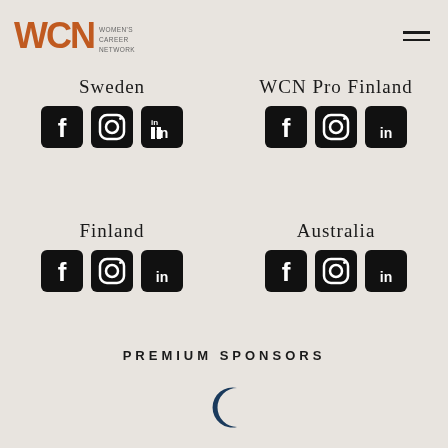[Figure (logo): WCN Women's Career Network logo with orange WCN letters and small text]
[Figure (infographic): Hamburger menu icon (three horizontal lines)]
Sweden
[Figure (infographic): Facebook, Instagram, LinkedIn social media icons for Sweden]
WCN Pro Finland
[Figure (infographic): Facebook, Instagram, LinkedIn social media icons for WCN Pro Finland]
Finland
[Figure (infographic): Facebook, Instagram, LinkedIn social media icons for Finland]
Australia
[Figure (infographic): Facebook, Instagram, LinkedIn social media icons for Australia]
PREMIUM SPONSORS
[Figure (logo): Partial crescent/C sponsor logo in dark blue]